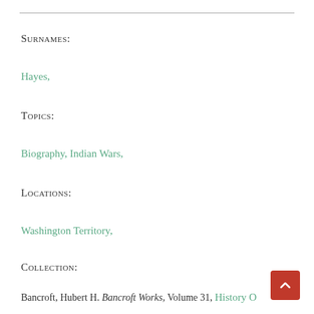Surnames:
Hayes,
Topics:
Biography, Indian Wars,
Locations:
Washington Territory,
Collection:
Bancroft, Hubert H. Bancroft Works, Volume 31, History O…